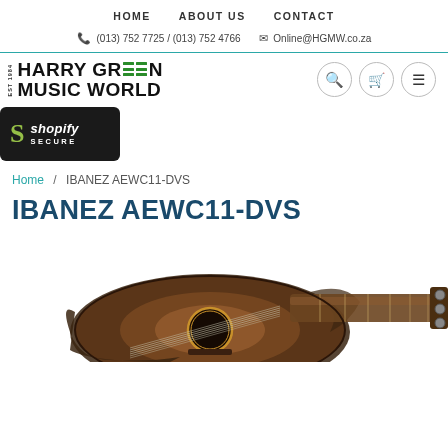HOME   ABOUT US   CONTACT
📞 (013) 752 7725 / (013) 752 4766   ✉ Online@HGMW.co.za
[Figure (logo): Harry Green Music World logo with EST 1984, bold black text and green horizontal bars replacing E in GREEN]
[Figure (logo): Shopify Secure badge - black rounded rectangle with green S logo and white text 'shopify SECURE']
Home / IBANEZ AEWC11-DVS
IBANEZ AEWC11-DVS
[Figure (photo): Photo of an Ibanez AEWC11-DVS acoustic-electric guitar in dark vintage sunburst finish, showing the body and part of the neck/headstock]